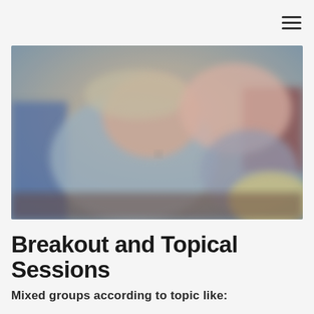[Figure (photo): Blurry close-up photo of people at a table, appears to be a group session or meeting. Figures are out of focus; one person in a gray shirt and cap is visible in the foreground, another person with pink top in background, warm/cool tones throughout.]
Breakout and Topical Sessions
Mixed groups according to topic like: